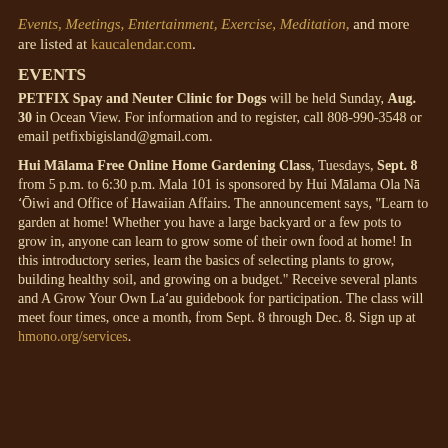Events, Meetings, Entertainment, Exercise, Meditation, and more are listed at kaucalendar.com.
EVENTS
PETFIX Spay and Neuter Clinic for Dogs will be held Sunday, Aug. 30 in Ocean View. For information and to register, call 808-990-3548 or email petfixbigisland@gmail.com.
Hui Mālama Free Online Home Gardening Class, Tuesdays, Sept. 8 from 5 p.m. to 6:30 p.m. Mala 101 is sponsored by Hui Mālama Ola Nā ʻŌiwi and Office of Hawaiian Affairs. The announcement says, "Learn to garden at home! Whether you have a large backyard or a few pots to grow in, anyone can learn to grow some of their own food at home! In this introductory series, learn the basics of selecting plants to grow, building healthy soil, and growing on a budget." Receive several plants and A Grow Your Own Laʻau guidebook for participation. The class will meet four times, once a month, from Sept. 8 through Dec. 8. Sign up at hmono.org/services.